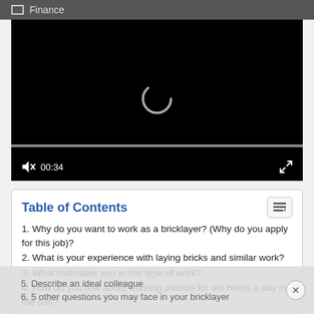[Figure (screenshot): Video player with black background, loading spinner, full progress bar, mute icon, timestamp 00:34, and fullscreen button.]
Table of Contents
1. Why do you want to work as a bricklayer? (Why do you apply for this job)?
2. What is your experience with laying bricks and similar work?
3. What motivates you in this type of work?
4. How do you feel about working outside for ten hours a day in the sun?
5. Describe an ideal colleague
6. 5 other questions you may face in your bricklayer